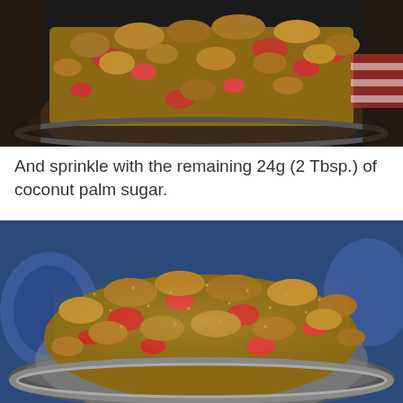[Figure (photo): A round dark baking pan filled with a fruit crumble dessert showing chunky crumble topping over red fruit pieces, viewed from above at a slight angle, with a striped cloth visible in the background.]
And sprinkle with the remaining 24g (2 Tbsp.) of coconut palm sugar.
[Figure (photo): A round silver/metallic baking pan filled with a fruit crumble dessert with fine sugar sprinkled over the crumble topping, viewed from slightly above, with blue dishes visible in the background.]